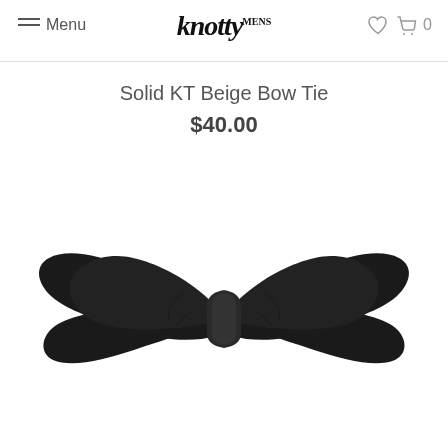Menu | knotty | ♡ 0
Solid KT Beige Bow Tie
$40.00
[Figure (photo): A black self-tie bow tie photographed flat against a white background, showing the characteristic butterfly shape with a center knot.]